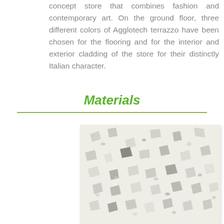concept store that combines fashion and contemporary art. On the ground floor, three different colors of Agglotech terrazzo have been chosen for the flooring and for the interior and exterior cladding of the store for their distinctly Italian character.
Materials
[Figure (photo): Close-up photograph of white terrazzo material with scattered grey and dark stone fragments of various sizes embedded in a white matrix — Agglotech terrazzo sample.]